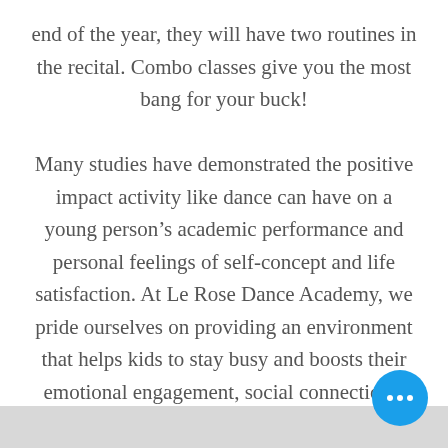end of the year, they will have two routines in the recital. Combo classes give you the most bang for your buck!

Many studies have demonstrated the positive impact activity like dance can have on a young person’s academic performance and personal feelings of self-concept and life satisfaction. At Le Rose Dance Academy, we pride ourselves on providing an environment that helps kids to stay busy and boosts their emotional engagement, social connections, and sense of self-worth